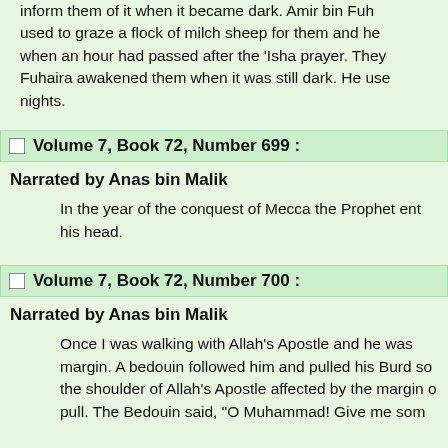inform them of it when it became dark. Amir bin Fuhaira used to graze a flock of milch sheep for them and he when an hour had passed after the 'Isha prayer. They Fuhaira awakened them when it was still dark. He use nights.
Volume 7, Book 72, Number 699 :
Narrated by Anas bin Malik
In the year of the conquest of Mecca the Prophet ent his head.
Volume 7, Book 72, Number 700 :
Narrated by Anas bin Malik
Once I was walking with Allah's Apostle and he was margin. A bedouin followed him and pulled his Burd so the shoulder of Allah's Apostle affected by the margin of pull. The Bedouin said, "O Muhammad! Give me som